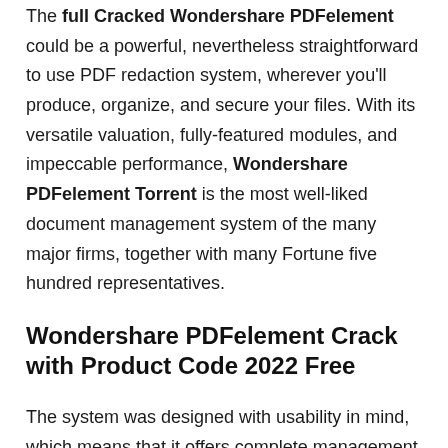The full Cracked Wondershare PDFelement could be a powerful, nevertheless straightforward to use PDF redaction system, wherever you'll produce, organize, and secure your files. With its versatile valuation, fully-featured modules, and impeccable performance, Wondershare PDFelement Torrent is the most well-liked document management system of the many major firms, together with many Fortune five hundred representatives.
Wondershare PDFelement Crack with Product Code 2022 Free
The system was designed with usability in mind, which means that it offers complete management over your PDF content and a collection of just about unlimited